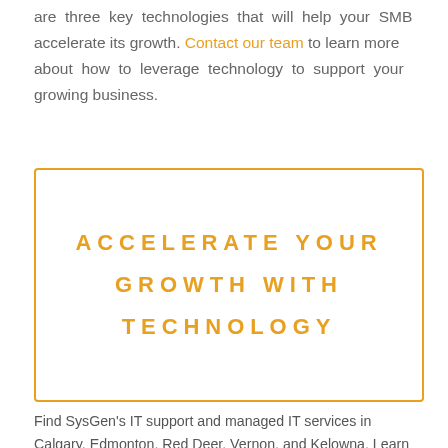are three key technologies that will help your SMB accelerate its growth. Contact our team to learn more about how to leverage technology to support your growing business.
ACCELERATE YOUR GROWTH WITH TECHNOLOGY
Find SysGen's IT support and managed IT services in Calgary, Edmonton, Red Deer, Vernon, and Kelowna. Learn more about SysGen's cloud offering, cybersecurity services, and digital advisory team by clicking here.